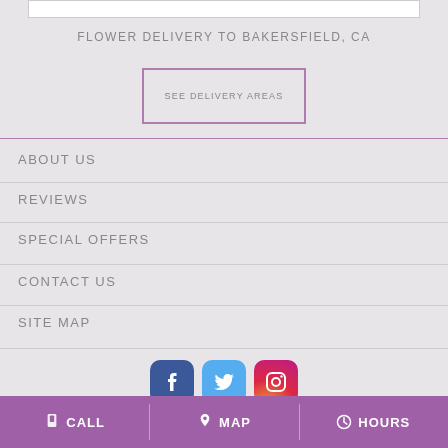FLOWER DELIVERY TO BAKERSFIELD, CA
SEE DELIVERY AREAS
ABOUT US
REVIEWS
SPECIAL OFFERS
CONTACT US
SITE MAP
[Figure (other): Social media icons: Facebook, Twitter/Threads, Instagram]
CALL  MAP  HOURS